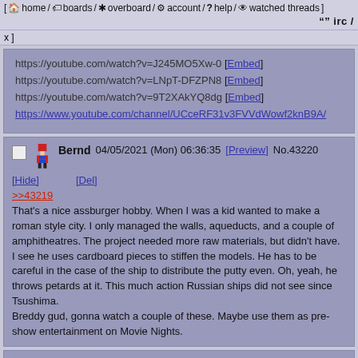[ home / boards / overboard / account / help / watched threads ] [ irc / ]
https://youtube.com/watch?v=J245MO5Xw-0 [Embed]
https://youtube.com/watch?v=LNpT-DFZPN8 [Embed]
https://youtube.com/watch?v=9T2XAkYQ8dg [Embed]
https://www.youtube.com/channel/UCceRF31v3FVVdWowf2knB9A/
Bernd 04/05/2021 (Mon) 06:36:35 [Preview] No.43220 [Hide] [Del]
>>43219
That's a nice assburger hobby. When I was a kid wanted to make a roman style city. I only managed the walls, aqueducts, and a couple of amphitheatres. The project needed more raw materials, but didn't have.
I see he uses cardboard pieces to stiffen the models. He has to be careful in the case of the ship to distribute the putty even. Oh, yeah, he throws petards at it. This much action Russian ships did not see since Tsushima.
Breddy gud, gonna watch a couple of these. Maybe use them as pre-show entertainment on Movie Nights.
Bernd 04/09/2021 (Fri) 21:42:04 [Preview] No.43260 [Hide] [Del] >>43274
(2.82 KB 150x150 coffee.jpg)